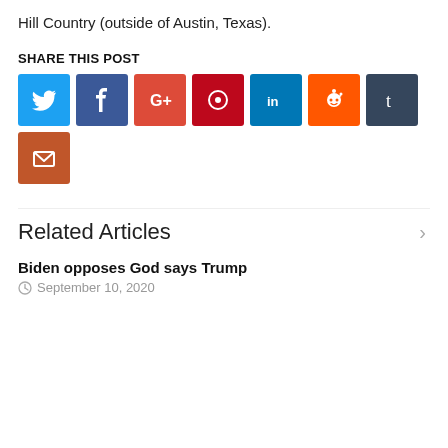Hill Country (outside of Austin, Texas).
SHARE THIS POST
[Figure (infographic): Social media share buttons: Twitter (blue), Facebook (dark blue), Google+ (red-orange), Pinterest (dark red), LinkedIn (blue), Reddit (orange), Tumblr (dark blue-gray), Email (brown-orange)]
Related Articles
Biden opposes God says Trump
September 10, 2020